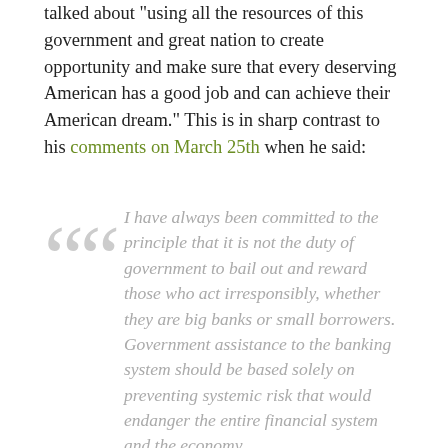talked about "using all the resources of this government and great nation to create opportunity and make sure that every deserving American has a good job and can achieve their American dream." This is in sharp contrast to his comments on March 25th when he said:
I have always been committed to the principle that it is not the duty of government to bail out and reward those who act irresponsibly, whether they are big banks or small borrowers. Government assistance to the banking system should be based solely on preventing systemic risk that would endanger the entire financial system and the economy.